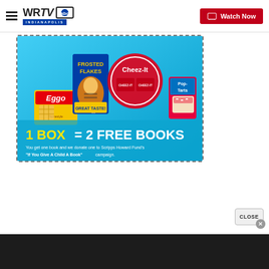[Figure (screenshot): WRTV Indianapolis ABC news website header with hamburger menu, WRTV logo with ABC badge, and red Watch Now button]
[Figure (infographic): Kellogg's promotional advertisement on light blue background showing Frosted Flakes, Cheez-It, Eggo, and Pop-Tarts product boxes. Large text reads '1 BOX = 2 FREE BOOKS'. Subtext reads 'You get one book and we donate one to Scripps Howard Fund's "If You Give A Child A Book" campaign.']
CLOSE